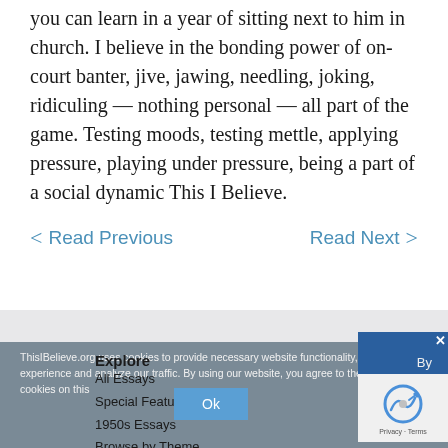you can learn in a year of sitting next to him in church. I believe in the bonding power of on-court banter, jive, jawing, needling, joking, ridiculing — nothing personal — all part of the game. Testing moods, testing mettle, applying pressure, playing under pressure, being a part of a social dynamic This I Believe.
< Read Previous    Read Next >
ThisIBelieve.org uses cookies to provide necessary website functionality, improve your experience and analyze our traffic. By using our website, you agree to the use of cookies on this
Explore
All Essays
Special Features
1950s Essays
Browse by Theme
Ok